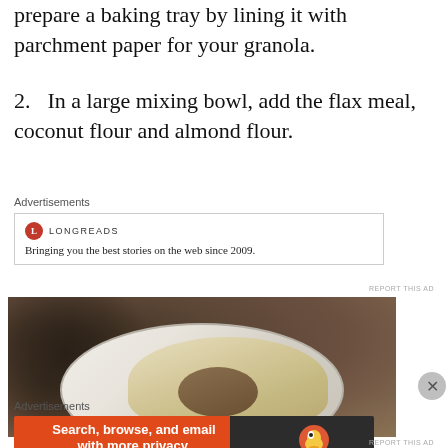prepare a baking tray by lining it with parchment paper for your granola.
2. In a large mixing bowl, add the flax meal, coconut flour and almond flour.
Advertisements
[Figure (other): Longreads advertisement: logo with red circle L, text 'LONGREADS', tagline 'Bringing you the best stories on the web since 2009.']
[Figure (photo): Photo of a bowl containing flax meal, coconut flour and almond flour, with grains/seeds visible in the background.]
Advertisements
[Figure (other): DuckDuckGo advertisement: orange and dark background with text 'Search, browse, and email with more privacy. All in One Free App' and DuckDuckGo logo/duck icon.]